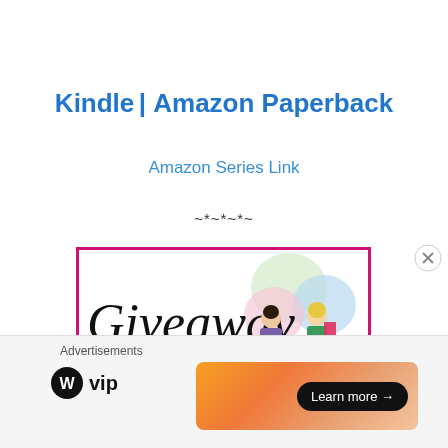Kindle | Amazon Paperback
Amazon Series Link
~*~*~*~
[Figure (illustration): Giveaway banner with cursive 'Giveaway' text and illustration of two women reading books, with colorful circles in background, framed in pink/magenta border]
Advertisements
[Figure (logo): WordPress VIP logo with W circle icon and 'vip' text]
[Figure (other): Learn more advertisement banner with orange gradient background and black 'Learn more →' button]